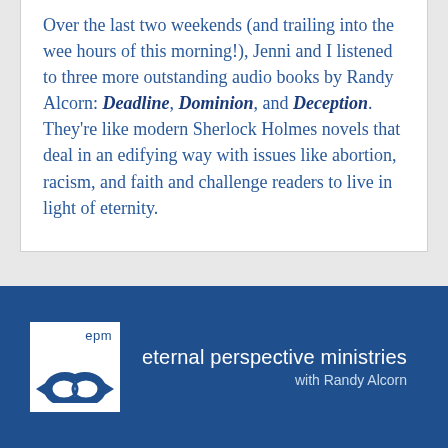Over the last two weekends (and trailing into the wee hours of this morning!), Jenni and I listened to three more outstanding audio books by Randy Alcorn: Deadline, Dominion, and Deception. They're like modern Sherlock Holmes novels that deal in an edifying way with issues like abortion, racism, and faith and challenge readers to live in light of eternity.
[Figure (logo): EPM (Eternal Perspective Ministries) logo: white box with 'epm' text and an infinity/fish symbol, alongside white text reading 'eternal perspective ministries with Randy Alcorn' on a dark blue background.]